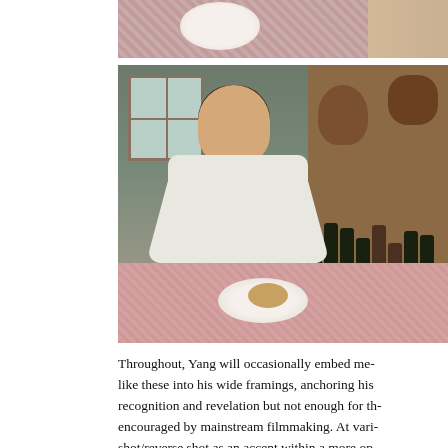[Figure (photo): Top portion of two film stills: partial view of a pink/checkered tablecloth with a plate of food and a person partially visible]
[Figure (photo): Film still showing a young boy in a white shirt eating at a table covered with a pink checkered tablecloth; background shows a window, shelves with large ceramic jars, bottles, and a teddy bear]
Throughout, Yang will occasionally embed me- like these into his wide framings, anchoring his recognition and revelation but not enough for th- encouraged by mainstream filmmaking. At vari- shot/reverse shot as an accent within a more op-
These first few moments show how Yang has m- devices. The shots seem poised between Yang's tableau frames. Here the long shots tend to be e- than Hou's; Hou seldom uses the steep central-p